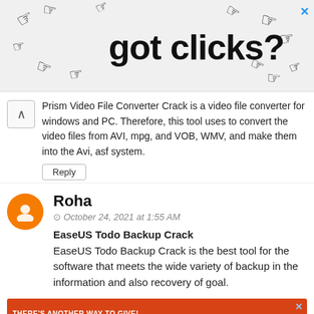[Figure (screenshot): Advertisement banner showing 'got clicks?' text with pixel art hand/cursor icons pointing in various directions, with a blue X close button in top right corner]
Prism Video File Converter Crack is a video file converter for windows and PC. Therefore, this tool uses to convert the video files from AVI, mpg, and VOB, WMV, and make them into the Avi, asf system.
Reply
Roha
October 24, 2021 at 1:55 AM
EaseUS Todo Backup Crack
EaseUS Todo Backup Crack is the best tool for the software that meets the wide variety of backup in the information and also recovery of goal.
[Figure (screenshot): Advertisement banner with orange background showing 'THERE'S ANOTHER WAY TO GIVE! DONATE A VEHICLE' with a GIVE TODAY yellow button and a white car image, with a blue X close button]
Crack Advise
October 25, 2021 at 12:05 AM
Powered by Hpoligan Media